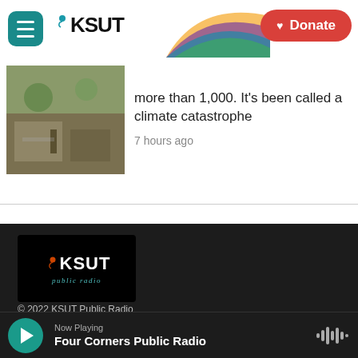KSUT | Donate
more than 1,000. It's been called a climate catastrophe
7 hours ago
[Figure (photo): Photo of a person near damaged/flooded area with rubble and greenery]
[Figure (logo): KSUT Public Radio logo on black background]
© 2022 KSUT Public Radio
Program Schedule
Now Playing
Four Corners Public Radio